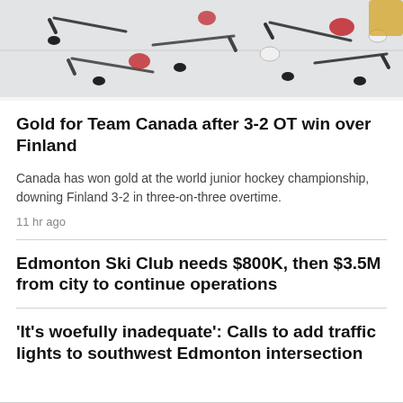[Figure (photo): Hockey sticks and pucks scattered on ice rink surface, aerial view]
Gold for Team Canada after 3-2 OT win over Finland
Canada has won gold at the world junior hockey championship, downing Finland 3-2 in three-on-three overtime.
11 hr ago
Edmonton Ski Club needs $800K, then $3.5M from city to continue operations
'It's woefully inadequate': Calls to add traffic lights to southwest Edmonton intersection